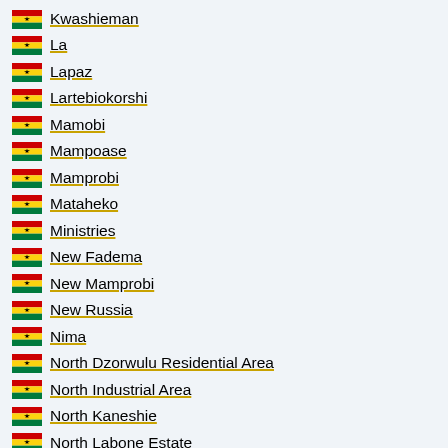Kwashieman
La
Lapaz
Lartebiokorshi
Mamobi
Mampoase
Mamprobi
Mataheko
Ministries
New Fadema
New Mamprobi
New Russia
Nima
North Dzorwulu Residential Area
North Industrial Area
North Kaneshie
North Labone Estate
North Ordokor